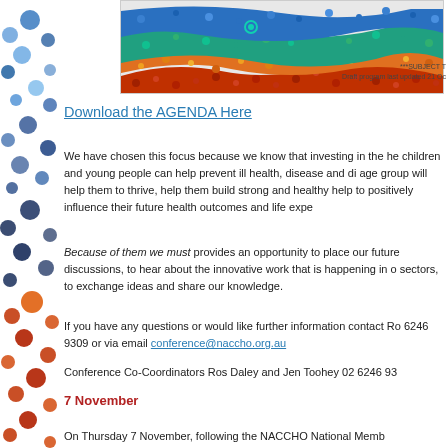[Figure (illustration): Colourful mosaic/dot art wave pattern banner with teal, blue, red, orange, and yellow patterns — NACCHO conference header image]
***SUBJECT T
Draft program last updated 21 Oc
Download the AGENDA Here
We have chosen this focus because we know that investing in the he children and young people can help prevent ill health, disease and di age group will help them to thrive, help them build strong and healthy help to positively influence their future health outcomes and life expe
Because of them we must provides an opportunity to place our future discussions, to hear about the innovative work that is happening in o sectors, to exchange ideas and share our knowledge.
If you have any questions or would like further information contact Ro 6246 9309 or via email conference@naccho.org.au
Conference Co-Coordinators Ros Daley and Jen Toohey 02 6246 93
7 November
On Thursday 7 November, following the NACCHO National Memb